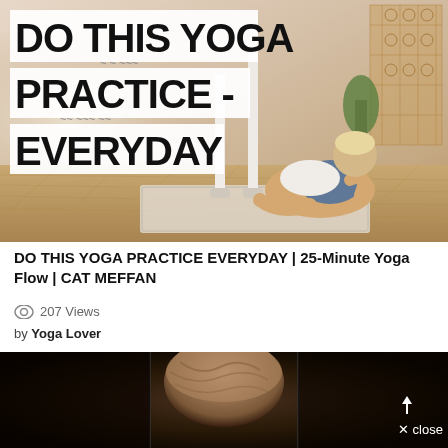[Figure (screenshot): Yoga video thumbnail showing a person performing a yoga pose on a mat in a bright studio room with candles and decorative shelf. Bold white-background text overlays read DO THIS YOGA PRACTICE EVERYDAY.]
DO THIS YOGA PRACTICE EVERYDAY | 25-Minute Yoga Flow | CAT MEFFAN
207 Views
by Yoga Lover
[Figure (screenshot): Dark video player showing a close-up of a person's head/hair from above against black background, with an up-arrow and X close button in bottom-right corner.]